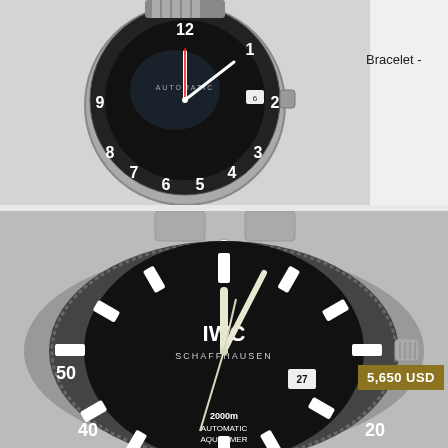[Figure (photo): Close-up photo of an IWC pilot watch with black dial showing Arabic numerals, 'AUTOMATIC' text, and a stainless steel jubilee bracelet, displayed on a white cloth background.]
Bracelet -
[Figure (photo): Close-up photo of an IWC Schaffhausen Aquatimer 2000m Automatic diver's watch with black dial, rotating bezel marked with 50/40/20 minute markers, date window showing 27, and stainless steel bracelet.]
5,650 USD